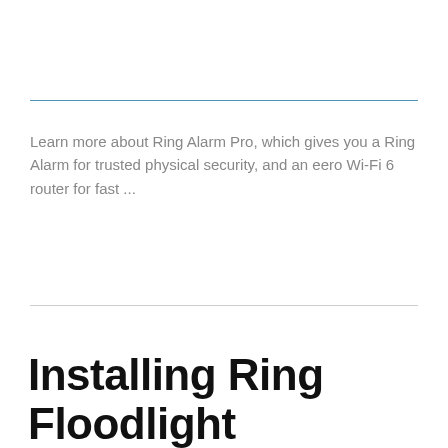Learn more about Ring Alarm Pro, which gives you a Ring Alarm for trusted physical security, and an eero Wi-Fi 6 router for fast ...
Installing Ring Floodlight